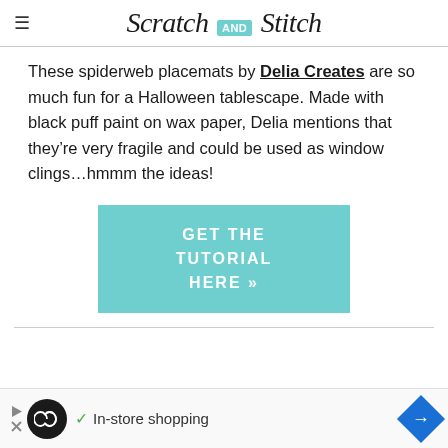≡ Scratch AND Stitch
These spiderweb placemats by Delia Creates are so much fun for a Halloween tablescape. Made with black puff paint on wax paper, Delia mentions that they're very fragile and could be used as window clings...hmmm the ideas!
[Figure (other): Teal/turquoise button reading GET THE TUTORIAL HERE »]
[Figure (infographic): Advertisement bar at bottom: black circle with infinity symbol, checkmark, 'In-store shopping', blue diamond with arrow icon]